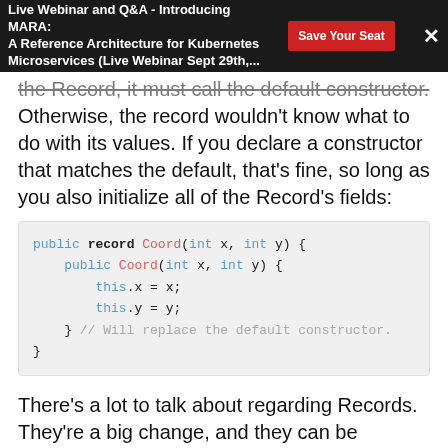Live Webinar and Q&A - Introducing MARA: A Reference Architecture for Kubernetes Microservices (Live Webinar Sept 29th,...
the Record, it must call the default constructor. Otherwise, the record wouldn't know what to do with its values. If you declare a constructor that matches the default, that's fine, so long as you also initialize all of the Record's fields:
There's a lot to talk about regarding Records. They're a big change, and they can be incredibly useful in the right situations. I haven't covered everything here, but hopefully this gives you the gist of what they're capable of doing.